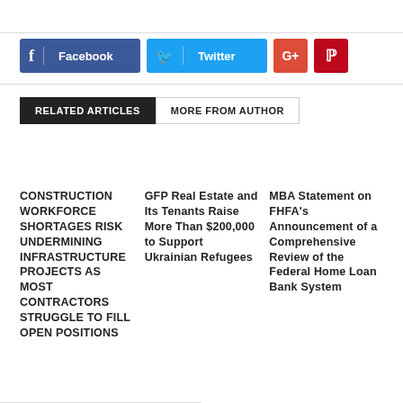[Figure (other): Social sharing buttons: Facebook (blue), Twitter (light blue), Google+ (red), Pinterest (dark red)]
RELATED ARTICLES | MORE FROM AUTHOR
CONSTRUCTION WORKFORCE SHORTAGES RISK UNDERMINING INFRASTRUCTURE PROJECTS AS MOST CONTRACTORS STRUGGLE TO FILL OPEN POSITIONS
GFP Real Estate and Its Tenants Raise More Than $200,000 to Support Ukrainian Refugees
MBA Statement on FHFA's Announcement of a Comprehensive Review of the Federal Home Loan Bank System